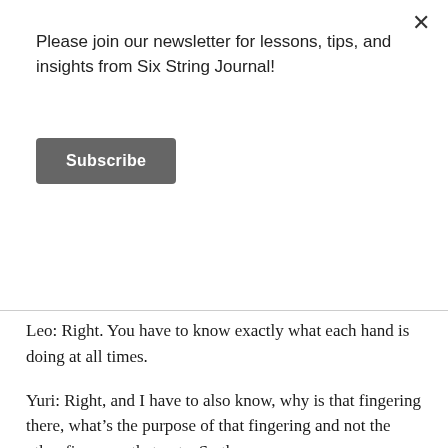Please join our newsletter for lessons, tips, and insights from Six String Journal!
Subscribe
Leo: Right. You have to know exactly what each hand is doing at all times.
Yuri: Right, and I have to also know, why is that fingering there, what’s the purpose of that fingering and not the other finger on that note. So there are many, many decisions that have to be made before I can even play the piece. Now, the decisions about making those fingerings, they’re very … they’re not an easy thing to explain, and every guitarist has their own way of